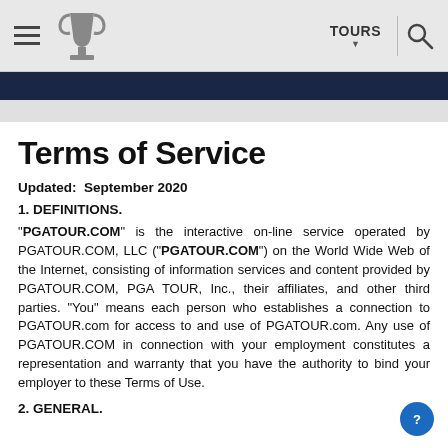PGA TOUR navigation bar with hamburger menu, trophy logo, TOURS dropdown, and search icon
Terms of Service
Updated:  September 2020
1. DEFINITIONS.
"PGATOUR.COM" is the interactive on-line service operated by PGATOUR.COM, LLC ("PGATOUR.COM") on the World Wide Web of the Internet, consisting of information services and content provided by PGATOUR.COM, PGA TOUR, Inc., their affiliates, and other third parties. "You" means each person who establishes a connection to PGATOUR.com for access to and use of PGATOUR.com. Any use of PGATOUR.COM in connection with your employment constitutes a representation and warranty that you have the authority to bind your employer to these Terms of Use.
2. GENERAL.